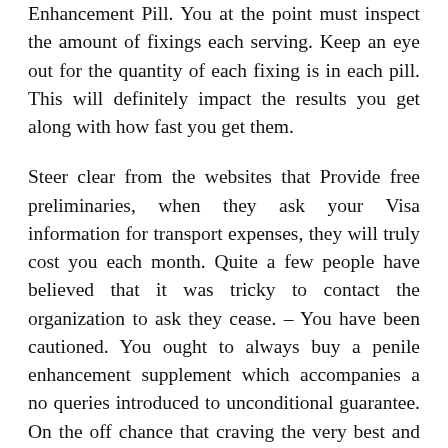Enhancement Pill. You at the point must inspect the amount of fixings each serving. Keep an eye out for the quantity of each fixing is in each pill. This will definitely impact the results you get along with how fast you get them.
Steer clear from the websites that Provide free preliminaries, when they ask your Visa information for transport expenses, they will truly cost you each month. Quite a few people have believed that it was tricky to contact the organization to ask they cease. – You have been cautioned. You ought to always buy a penile enhancement supplement which accompanies a no queries introduced to unconditional guarantee. On the off chance that craving the very best and fastest results from the pills you buy. You have to obtain your tablets out of a confided in business. Alongside this is the person's figure, with lower muscle to fat ratio may make